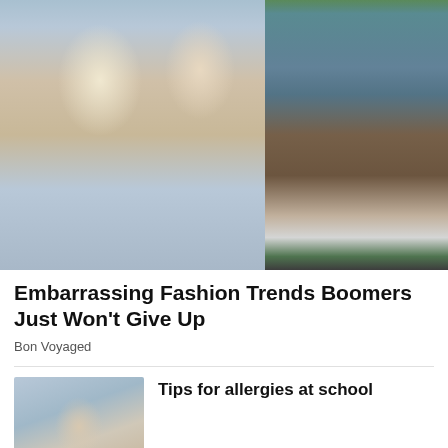[Figure (photo): Two women in 1980s/90s fashion: one in light blue denim jacket and jeans, another in pink sweater with light jeans. On the right, a man's lower body wearing denim shorts and white sneakers standing on green grass.]
Embarrassing Fashion Trends Boomers Just Won't Give Up
Bon Voyaged
[Figure (photo): A child seen from behind with blurred background of other children, appearing to be in a school setting.]
Tips for allergies at school